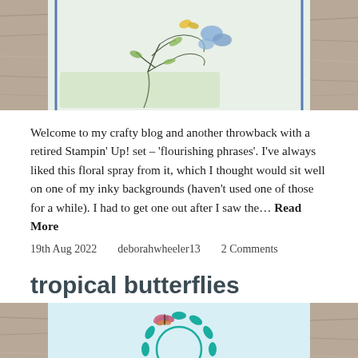[Figure (photo): Partial top view of a handmade greeting card with floral spray stamping in blue, green and yellow on a light background, with a blue border, placed on a wood surface.]
Welcome to my crafty blog and another throwback with a retired Stampin' Up! set – 'flourishing phrases'. I've always liked this floral spray from it, which I thought would sit well on one of my inky backgrounds (haven't used one of those for a while). I had to get one out after I saw the… Read More
19th Aug 2022   deborahwheeler13   2 Comments
tropical butterflies
[Figure (photo): Partial view of a handmade card featuring a teal wreath of leaves with butterflies (pink/orange and black) on a light blue background, on a wood surface.]